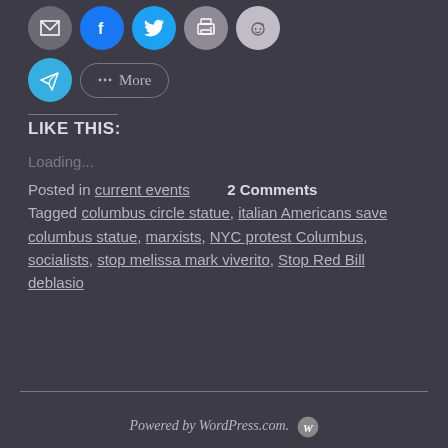[Figure (infographic): Social sharing buttons: email (gray), Facebook (blue), Twitter (light blue), print (gray), Reddit (light gray), Telegram (teal), and a More button with share icon]
LIKE THIS:
Loading...
Posted in current events   2 Comments
Tagged columbus circle statue, italian Americans save columbus statue, marxists, NYC protest Columbus, socialists, stop melissa mark viverito, Stop Red Bill deblasio
Powered by WordPress.com.